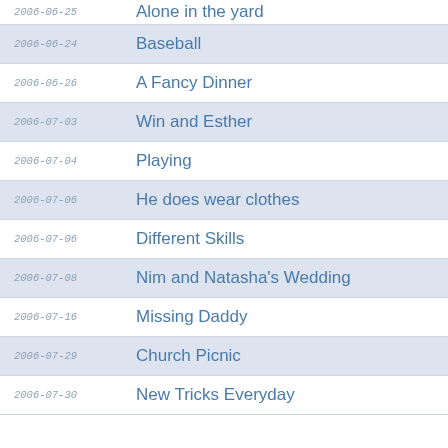| Date | Title |
| --- | --- |
| 2006-06-25 | Alone in the yard |
| 2006-06-24 | Baseball |
| 2006-06-26 | A Fancy Dinner |
| 2006-07-03 | Win and Esther |
| 2006-07-04 | Playing |
| 2006-07-06 | He does wear clothes |
| 2006-07-06 | Different Skills |
| 2006-07-08 | Nim and Natasha's Wedding |
| 2006-07-16 | Missing Daddy |
| 2006-07-29 | Church Picnic |
| 2006-07-30 | New Tricks Everyday |